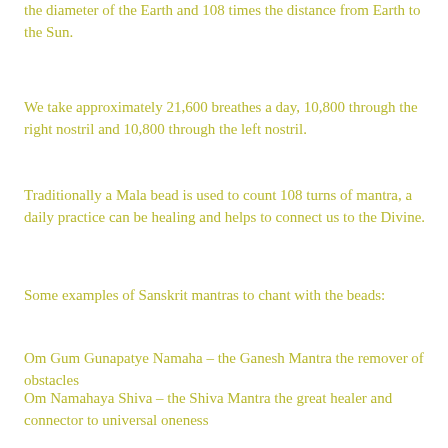the diameter of the Earth and 108 times the distance from Earth to the Sun.
We take approximately 21,600 breathes a day, 10,800 through the right nostril and 10,800 through the left nostril.
Traditionally a Mala bead is used to count 108 turns of mantra, a daily practice can be healing and helps to connect us to the Divine.
Some examples of Sanskrit mantras to chant with the beads:
Om Gum Gunapatye Namaha – the Ganesh Mantra the remover of obstacles
Om Namahaya Shiva – the Shiva Mantra the great healer and connector to universal oneness
Ong Namo Guru Dev Namo – I bow to the Divine...